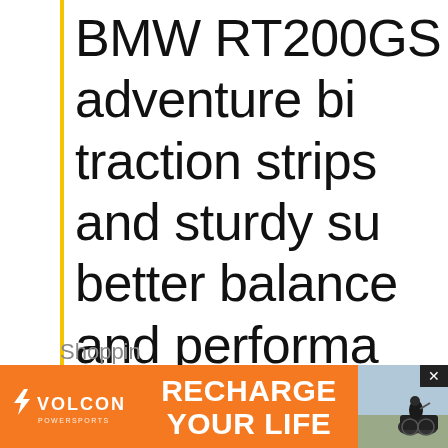BMW RT200GS adventure bi... traction strips and sturdy su... better balance and performa... motorists get their bearings. ...hour top speed, they'll get th... exhilarating adventures to co... wheels. Admit it, you wish yo... these when you were a kid! (...
[Figure (infographic): Volcon Powersports advertisement banner with orange background. Shows Volcon logo with lightning bolt on left, 'RECHARGE YOUR LIFE' text in center, and a rider on a dirt bike on the right side. X close button in top right corner.]